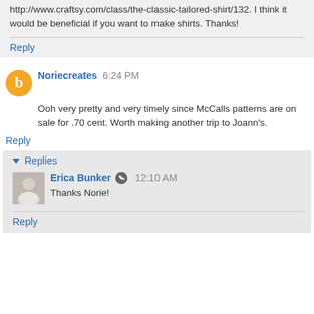http://www.craftsy.com/class/the-classic-tailored-shirt/132. I think it would be beneficial if you want to make shirts. Thanks!
Reply
Noriecreates  6:24 PM
Ooh very pretty and very timely since McCalls patterns are on sale for .70 cent. Worth making another trip to Joann's.
Reply
Replies
Erica Bunker  12:10 AM
Thanks Norie!
Reply